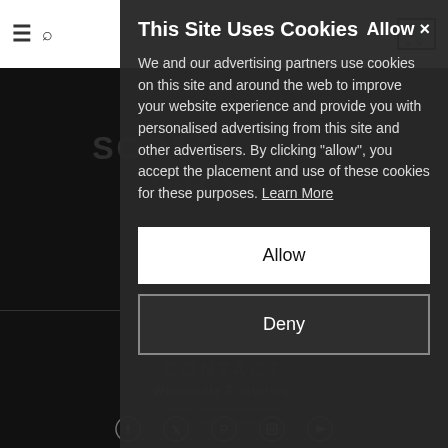≡ 🔍 RRON of SCOTLAND [cart]
This Site Uses Cookies
We and our advertising partners use cookies on this site and around the web to improve your website experience and provide you with personalised advertising from this site and other advertisers. By clicking "allow", you accept the placement and use of these cookies for these purposes. Learn More
Allow
Deny